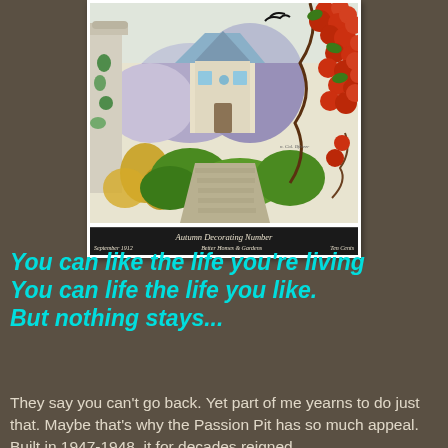[Figure (illustration): Vintage magazine cover illustration showing a storybook cottage with red autumn vines/flowers cascading from upper right, stone path leading to cottage, lush green garden surroundings, archway on left. Caption reads 'Autumn Decorating Number' with 'September 1912' on the left and 'Ten Cents' on the right.]
Autumn Decorating Number
September 1912    [subtitle]    Ten Cents
You can like the life you're living
You can life the life you like.
But nothing stays...
They say you can't go back. Yet part of me yearns to do just that. Maybe that's why the Passion Pit has so much appeal. Built in 1947-1948, it for decades reigned...